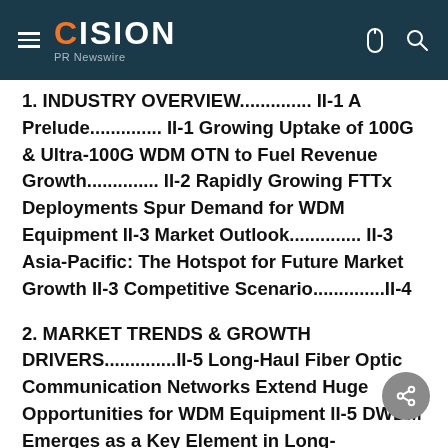CISION PR Newswire
1. INDUSTRY OVERVIEW.............. II-1 A Prelude.............. II-1 Growing Uptake of 100G & Ultra-100G WDM OTN to Fuel Revenue Growth.............. II-2 Rapidly Growing FTTx Deployments Spur Demand for WDM Equipment II-3 Market Outlook.............. II-3 Asia-Pacific: The Hotspot for Future Market Growth II-3 Competitive Scenario..............II-4
2. MARKET TRENDS & GROWTH DRIVERS..............II-5 Long-Haul Fiber Optic Communication Networks Extend Huge Opportunities for WDM Equipment II-5 DWDM Emerges as a Key Element in Long-